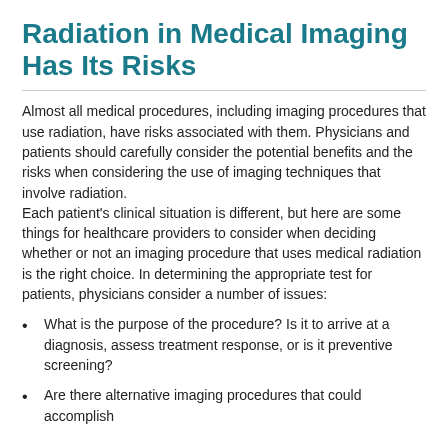Radiation in Medical Imaging Has Its Risks
Almost all medical procedures, including imaging procedures that use radiation, have risks associated with them. Physicians and patients should carefully consider the potential benefits and the risks when considering the use of imaging techniques that involve radiation.
Each patient's clinical situation is different, but here are some things for healthcare providers to consider when deciding whether or not an imaging procedure that uses medical radiation is the right choice. In determining the appropriate test for patients, physicians consider a number of issues:
What is the purpose of the procedure? Is it to arrive at a diagnosis, assess treatment response, or is it preventive screening?
Are there alternative imaging procedures that could accomplish